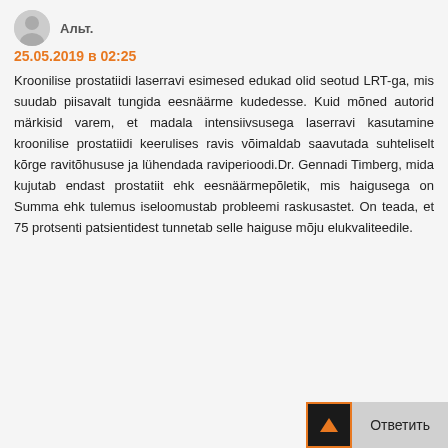Альт.
25.05.2019 в 02:25
Kroonilise prostatiidi laserravi esimesed edukad olid seotud LRT-ga, mis suudab piisavalt tungida eesnäärme kudedesse. Kuid mõned autorid märkisid varem, et madala intensiivsusega laserravi kasutamine kroonilise prostatiidi keerulises ravis võimaldab saavutada suhteliselt kõrge ravitõhususe ja lühendada raviperioodi.Dr. Gennadi Timberg, mida kujutab endast prostatiit ehk eesnäärmepõletik, mis haigusega on Summa ehk tulemus iseloomustab probleemi raskusastet. On teada, et 75 protsenti patsientidest tunnetab selle haiguse mõju elukvaliteedile.
Ответить